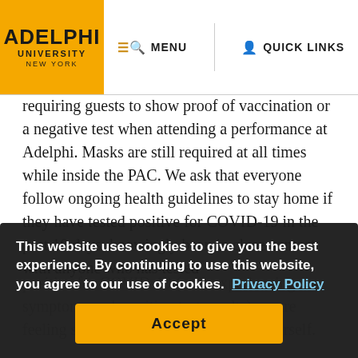ADELPHI UNIVERSITY NEW YORK | MENU | QUICK LINKS
requiring guests to show proof of vaccination or a negative test when attending a performance at Adelphi. Masks are still required at all times while inside the PAC. We ask that everyone follow ongoing health guidelines to stay home if they have tested positive for COVID-19 in the past 10 days, knowingly been in close contact with anyone who has tested positive for COVID-19 (or is experiencing symptoms and awaiting test results), or are feeling sick (especially with a fever) yourself.
These policies will remain in place until further notice and are subject to change at any time. Feel free to contact the box office with any questions.
This website uses cookies to give you the best experience. By continuing to use this website, you agree to our use of cookies.  Privacy Policy
Accept